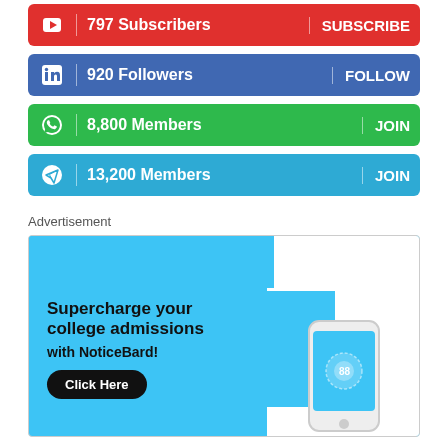797 Subscribers | SUBSCRIBE (YouTube)
920 Followers | FOLLOW (LinkedIn)
8,800 Members | JOIN (WhatsApp)
13,200 Members | JOIN (Telegram)
Advertisement
[Figure (infographic): Advertisement banner: Supercharge your college admissions with NoticeBard! Click Here button, phone illustration on blue background.]